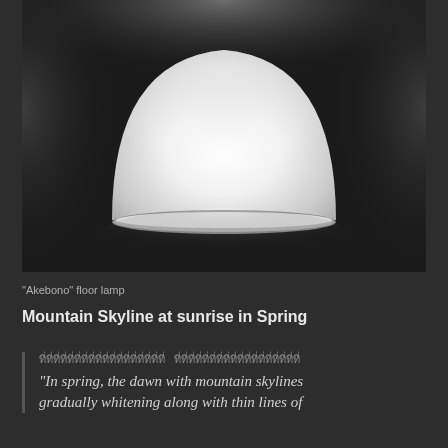[Figure (photo): A dome-shaped frosted glass floor lamp ('Akebono') photographed against a dark background. The lamp emits a soft white glow from its rounded translucent shade, with a subtle reflection on the surface below.]
"Akebono" floor lamp
Mountain Skyline at sunrise in Spring
ที่ที่ที่ที่ที่ที่ที่ที่ที่ที่ที่ที่ที่ที่ที่ที่ที่ที่   ที่ที่ที่ที่ที่ที่ที่ที่ที่ที่ที่ที่ที่ที่ที่ที่ที่ที่
"In spring, the dawn with mountain skylines gradually whitening along with thin lines of